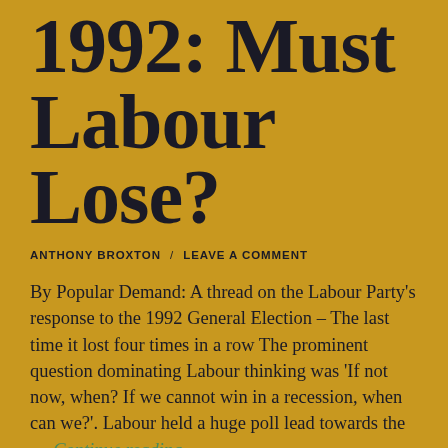1992: Must Labour Lose?
ANTHONY BROXTON / LEAVE A COMMENT
By Popular Demand: A thread on the Labour Party's response to the 1992 General Election – The last time it lost four times in a row The prominent question dominating Labour thinking was 'If not now, when? If we cannot win in a recession, when can we?'. Labour held a huge poll lead towards the … Continue reading